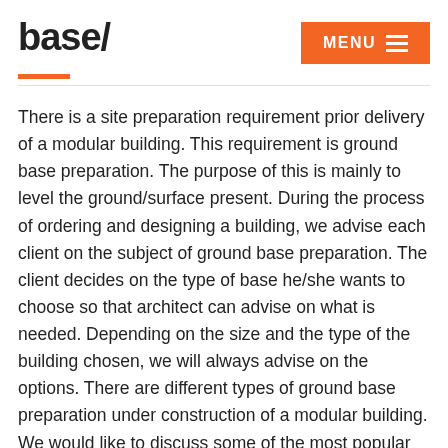base/
There is a site preparation requirement prior delivery of a modular building. This requirement is ground base preparation. The purpose of this is mainly to level the ground/surface present. During the process of ordering and designing a building, we advise each client on the subject of ground base preparation. The client decides on the type of base he/she wants to choose so that architect can advise on what is needed. Depending on the size and the type of the building chosen, we will always advise on the options. There are different types of ground base preparation under construction of a modular building. We would like to discuss some of the most popular choices among our clients as well as discuss our own preferences: